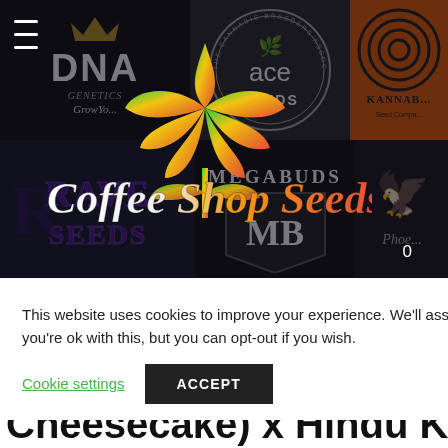[Figure (screenshot): Website banner/header of Coffee Shop Seeds showing multiple cannabis seed company logos (DNA Genetics, Ace Seeds, Kannabis Seed Company, Rave Seeds, Megabuds, Phoenix) on a dark background with a rainbow cannabis leaf and the Coffee Shop Seeds logo overlay. A hamburger menu icon is top-left and a cart badge showing '0' is bottom-right.]
This website uses cookies to improve your experience. We'll assume you're ok with this, but you can opt-out if you wish.
Cookie settings
ACCEPT
KUSH X AUTO"
lding
Cheesecake) x Hindu Kush